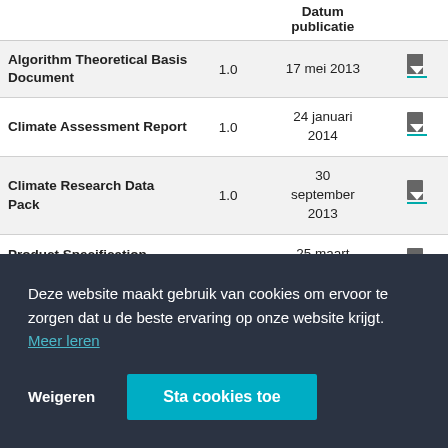|  |  | Datum publicatie |  |
| --- | --- | --- | --- |
| Algorithm Theoretical Basis Document | 1.0 | 17 mei 2013 | ↓ |
| Climate Assessment Report | 1.0 | 24 januari 2014 | ↓ |
| Climate Research Data Pack | 1.0 | 30 september 2013 | ↓ |
| Product Specification Document | 3.0 | 25 maart 2013 | ↓ |
|  |  |  | ↓ |
|  |  |  | ↓ |
|  |  |  | ↓ |
Deze website maakt gebruik van cookies om ervoor te zorgen dat u de beste ervaring op onze website krijgt.  Meer leren
Weigeren   Sta cookies toe